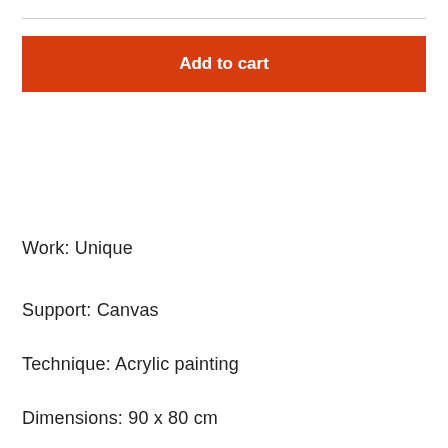Add to cart
Work: Unique
Support: Canvas
Technique: Acrylic painting
Dimensions: 90 x 80 cm